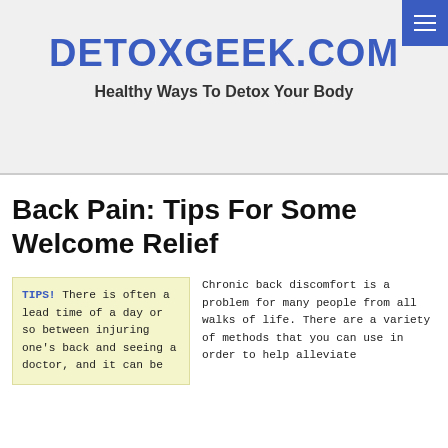DETOXGEEK.COM
Healthy Ways To Detox Your Body
Back Pain: Tips For Some Welcome Relief
TIPS! There is often a lead time of a day or so between injuring one's back and seeing a doctor, and it can be
Chronic back discomfort is a problem for many people from all walks of life. There are a variety of methods that you can use in order to help alleviate